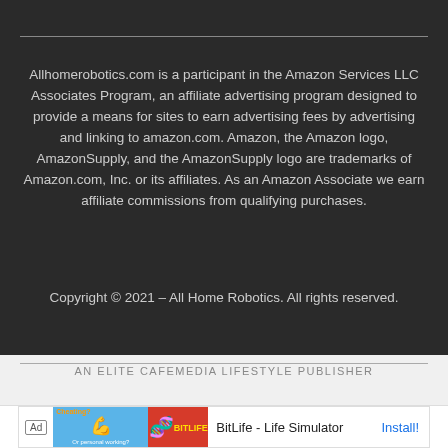Allhomerobotics.com is a participant in the Amazon Services LLC Associates Program, an affiliate advertising program designed to provide a means for sites to earn advertising fees by advertising and linking to amazon.com. Amazon, the Amazon logo, AmazonSupply, and the AmazonSupply logo are trademarks of Amazon.com, Inc. or its affiliates. As an Amazon Associate we earn affiliate commissions from qualifying purchases.
Copyright © 2021 – All Home Robotics. All rights reserved.
AN ELITE CAFEMEDIA LIFESTYLE PUBLISHER
[Figure (screenshot): Advertisement banner for BitLife - Life Simulator app with Ad badge, game screenshots, app title, and Install button]